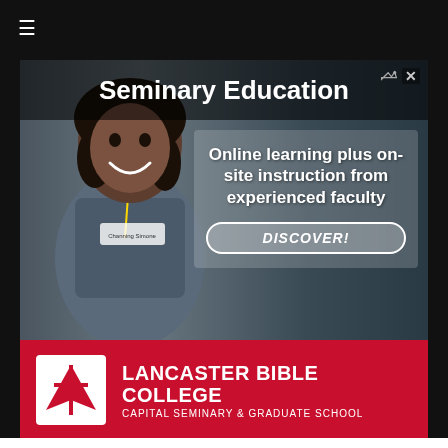[Figure (illustration): Advertisement banner for Lancaster Bible College Capital Seminary & Graduate School. Shows a smiling woman in scrubs/uniform on the left, with text overlay reading 'Seminary Education' at the top, 'Online learning plus on-site instruction from experienced faculty' in the center-right area, a 'DISCOVER!' button, and the Lancaster Bible College logo and name on a red strip at the bottom.]
LANCASTER BIBLE COLLEGE
CAPITAL SEMINARY & GRADUATE SCHOOL